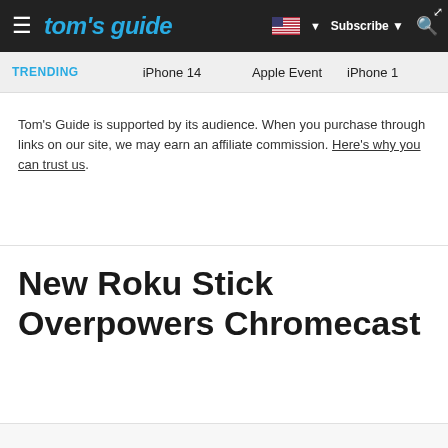tom's guide — Subscribe
TRENDING   iPhone 14   Apple Event   iPhone 1
Tom's Guide is supported by its audience. When you purchase through links on our site, we may earn an affiliate commission. Here's why you can trust us.
New Roku Stick Overpowers Chromecast